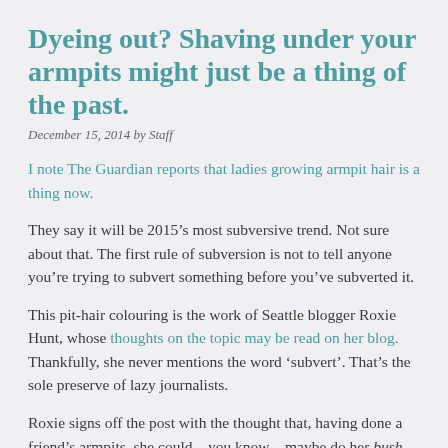Dyeing out? Shaving under your armpits might just be a thing of the past.
December 15, 2014 by Staff
I note The Guardian reports that ladies growing armpit hair is a thing now.
They say it will be 2015’s most subversive trend. Not sure about that. The first rule of subversion is not to tell anyone you’re trying to subvert something before you’ve subverted it.
This pit-hair colouring is the work of Seattle blogger Roxie Hunt, whose thoughts on the topic may be read on her blog. Thankfully, she never mentions the word ‘subvert’. That’s the sole preserve of lazy journalists.
Roxie signs off the post with the thought that, having done a friend’s armpits, she could…you know…maybe do her bush too.
At this time of year it would be entirely possible to do it without anyone (other than family, maybe) ever finding out anyway, due to us all being